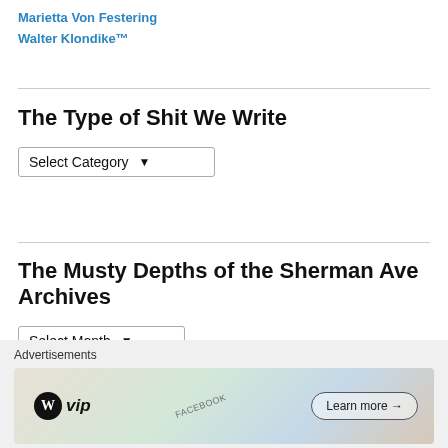Marietta Von Festering
Walter Klondike™
The Type of Shit We Write
[Figure (other): Dropdown selector showing 'Select Category']
The Musty Depths of the Sherman Ave Archives
[Figure (other): Dropdown selector showing 'Select Month']
View Full Site
Advertisements
[Figure (other): WordPress VIP advertisement banner with 'Learn more' button]